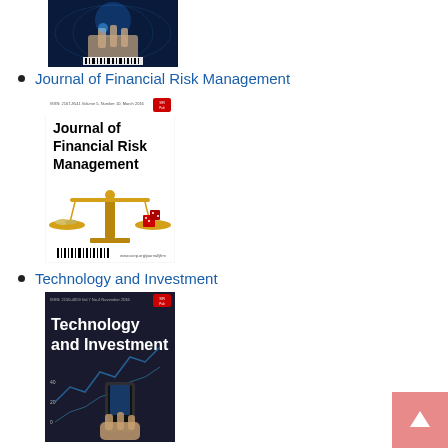[Figure (photo): Partial journal cover image at top of page showing a hand touching a digital world map display with barcode]
Journal of Financial Risk Management
[Figure (photo): Journal cover of 'Journal of Financial Risk Management' showing golden scales of justice with dice and coins]
Technology and Investment
[Figure (photo): Journal cover of 'Technology and Investment' showing financial chart and hand holding smartphone]